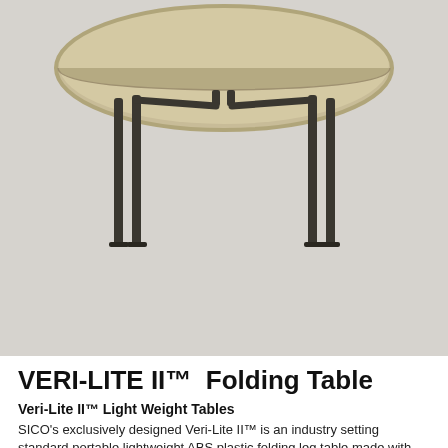[Figure (illustration): Large 3D render of a round folding table with tan/beige ABS plastic top and dark folding legs, viewed from slightly above and in front. The round tabletop is prominently shown with folding leg mechanism visible underneath.]
[Figure (illustration): Small thumbnail of the round folding table (same product, smaller view)]
[Figure (illustration): Small thumbnail of a rectangular folding table (same product line, different shape)]
VERI-LITE II™  Folding Table
Veri-Lite II™ Light Weight Tables
SICO's exclusively designed Veri-Lite II™ is an industry setting standard portable lightweight ABS plastic folding leg table made with the strength to stand up to all your commercial table requirements.